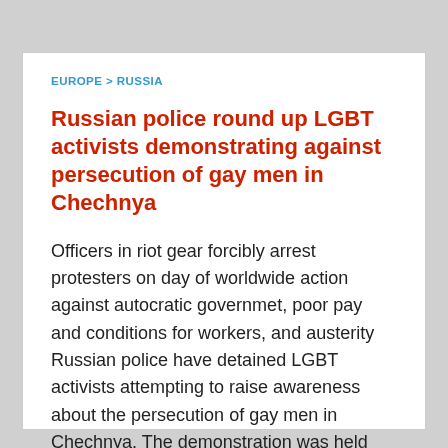EUROPE > RUSSIA
Russian police round up LGBT activists demonstrating against persecution of gay men in Chechnya
Officers in riot gear forcibly arrest protesters on day of worldwide action against autocratic governmet, poor pay and conditions for workers, and austerity Russian police have detained LGBT activists attempting to raise awareness about the persecution of gay men in Chechnya. The demonstration was held during a May Day march in St Petersburg, with a… Read more »